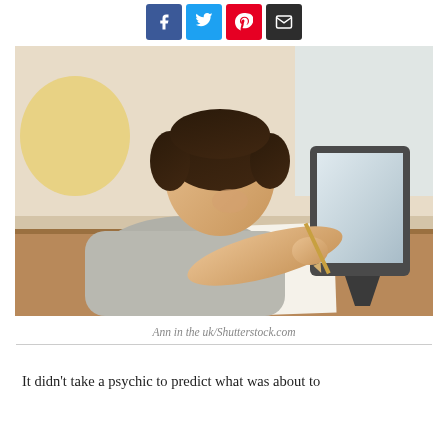[Figure (other): Social media sharing buttons: Facebook (blue), Twitter (light blue), Pinterest (red), Email (dark/black)]
[Figure (photo): A young boy leaning over a wooden table, writing on paper with a pencil while looking at a tablet device propped up beside him. Warm, blurred classroom/home background.]
Ann in the uk/Shutterstock.com
It didn't take a psychic to predict what was about to